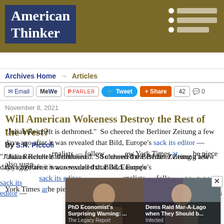American Thinker
Archives Home → Articles
Email  MeWe  PARLER  Tweet  Share  42  0
November 8, 2021
Will American Wokeness Destroy the Rest of the West?
By S.R. Piccoli
"Julian Reichelt is dethroned."  So cheered the Berliner Zeitung a few days ago after it was revealed that Bild, Europe's [largest tabloid, was about to] sack its editor — [who had fired several] journalists — follow[ing a piece written by] New York Times a[nd...] he piece also sugg[ests...]
[Figure (photo): Ad overlay showing two panels: left panel 'PhD Economist's Surprising Warning: ...' from The Legacy Report, right panel 'Dems Raid Mar-A-Lago when They Should b...' from Infected, with close button]